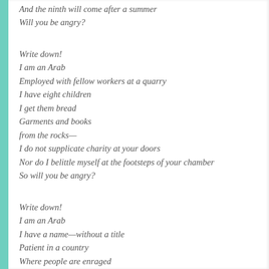And the ninth will come after a summer
Will you be angry?

Write down!
I am an Arab
Employed with fellow workers at a quarry
I have eight children
I get them bread
Garments and books
from the rocks—
I do not supplicate charity at your doors
Nor do I belittle myself at the footsteps of your chamber
So will you be angry?

Write down!
I am an Arab
I have a name—without a title
Patient in a country
Where people are enraged
My roots